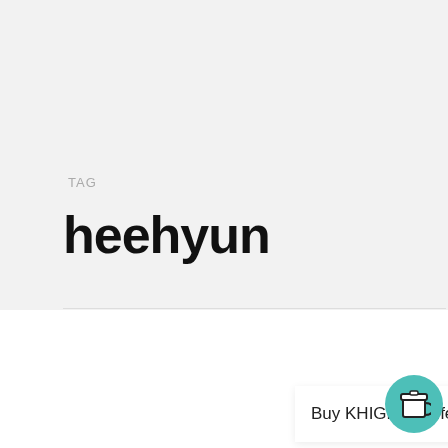TAG
heehyun
Accept
We use cookies on our website to give you the most relevant experience by remembering your preferences and repeat visits. By clicking "Accept", you consent to the use of ALL the cookies.
Buy KHIGH a coffee!